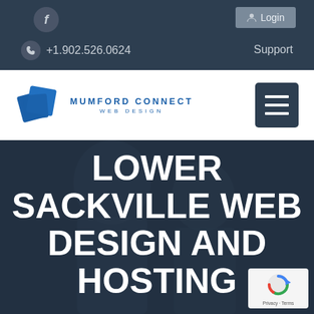f  Login  +1.902.526.0624  Support
[Figure (logo): Mumford Connect Web Design logo with blue overlapping square icons and text]
[Figure (other): Hamburger menu button (three horizontal lines) on dark background]
LOWER SACKVILLE WEB DESIGN AND HOSTING
[Figure (other): reCAPTCHA badge with Privacy · Terms text]